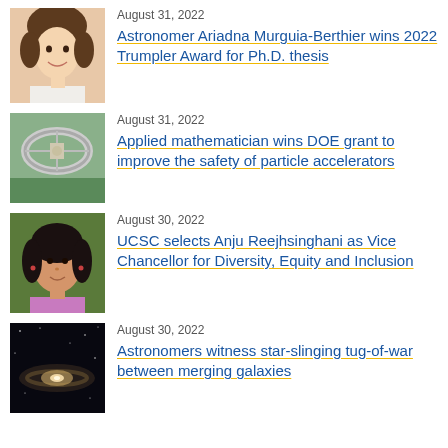[Figure (photo): Portrait photo of a smiling woman with dark hair, wearing a white top]
August 31, 2022
Astronomer Ariadna Murguia-Berthier wins 2022 Trumpler Award for Ph.D. thesis
[Figure (photo): Aerial photograph of a circular particle accelerator facility surrounded by green landscape]
August 31, 2022
Applied mathematician wins DOE grant to improve the safety of particle accelerators
[Figure (photo): Portrait photo of a woman with dark curly hair wearing a pink blouse, outdoors]
August 30, 2022
UCSC selects Anju Reejhsinghani as Vice Chancellor for Diversity, Equity and Inclusion
[Figure (photo): Dark photograph of a galaxy or cosmic object with glowing center against a black background]
August 30, 2022
Astronomers witness star-slinging tug-of-war between merging galaxies